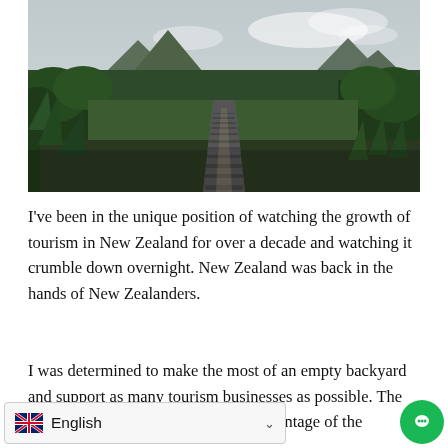[Figure (photo): A narrow boardwalk/railway track leads into the distance through lush green native New Zealand bush with mountains visible in the background under a cloudy sky.]
I've been in the unique position of watching the growth of tourism in New Zealand for over a decade and watching it crumble down overnight. New Zealand was back in the hands of New Zealanders.
I was determined to make the most of an empty backyard and support as many tourism businesses as possible. The struggle isn't … you can still take advantage of the